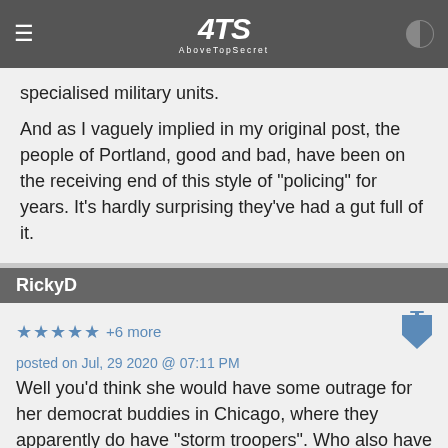4TS AboveTopSecret
specialised military units.
And as I vaguely implied in my original post, the people of Portland, good and bad, have been on the receiving end of this style of "policing" for years. It's hardly surprising they've had a gut full of it.
RickyD
★ ★ ★ ★ ★ +6 more
posted on Jul, 29 2020 @ 07:11 PM
Well you'd think she would have some outrage for her democrat buddies in Chicago, where they apparently do have "storm troopers". Who also have secret storm trooper detention facilities where they hide prisoners from legal counsel, their families, as well as in some cases alleged torture.
...but no police actually protecting people within the law and